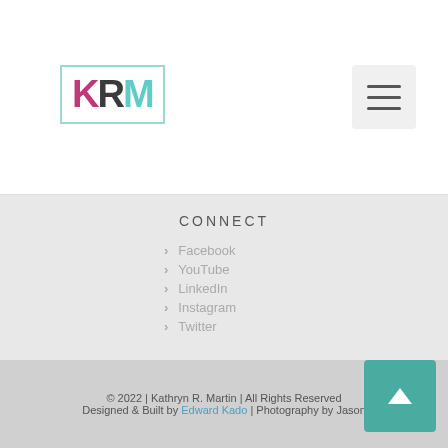[Figure (logo): KRM logo with pink K, dark R, teal M inside a teal-bordered box]
[Figure (other): Hamburger menu button (three horizontal lines) on light gray background]
CONNECT
> Facebook
> YouTube
> LinkedIn
> Instagram
> Twitter
© 2022 | Kathryn R. Martin | All Rights Reserved
Designed & Built by Edward Kado | Photography by Jason